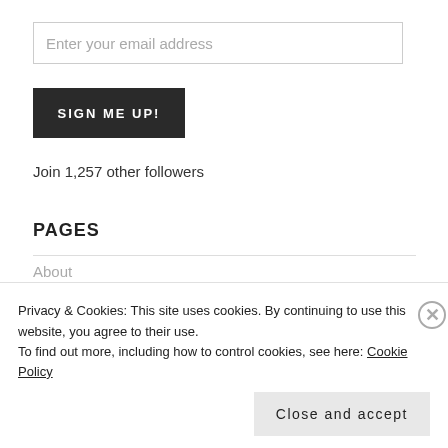Enter your email address
SIGN ME UP!
Join 1,257 other followers
PAGES
About
Affiliation
Privacy & Cookies: This site uses cookies. By continuing to use this website, you agree to their use.
To find out more, including how to control cookies, see here: Cookie Policy
Close and accept